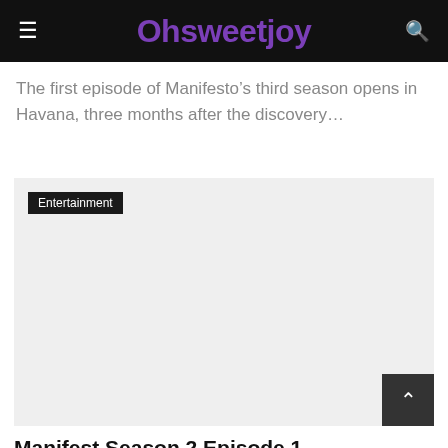Ohsweetjoy
The first episode of Manifesto’s third season opens in Havana, three months after the discovery…
[Figure (other): Gray placeholder image card with Entertainment tag label in top-left and a scroll-to-top button (dark square with up arrow) in bottom-right]
Manifest Season 2 Episode 1